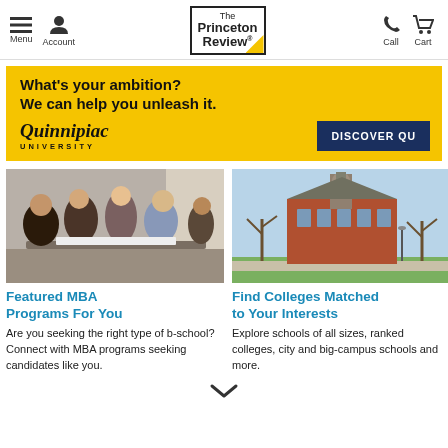Menu | Account | The Princeton Review | Call | Cart
[Figure (screenshot): Advertisement banner for Quinnipiac University. Yellow background with bold text: 'What's your ambition? We can help you unleash it.' Quinnipiac University logo and 'DISCOVER QU' button.]
[Figure (photo): Group of business students gathered around a table, looking at documents together, collaborative setting.]
Featured MBA Programs For You
Are you seeking the right type of b-school? Connect with MBA programs seeking candidates like you.
[Figure (photo): College campus building — a large red-brick Victorian-style building with a clock tower, trees lining the path on a clear day.]
Find Colleges Matched to Your Interests
Explore schools of all sizes, ranked colleges, city and big-campus schools and more.